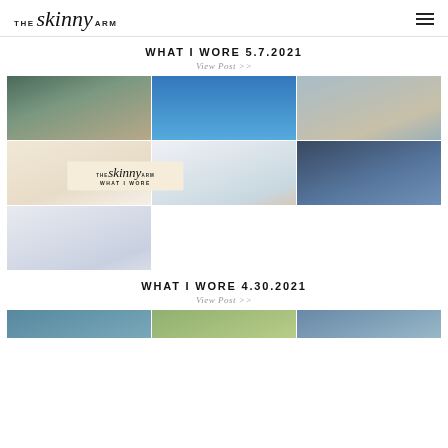THE skinny ARM
WHAT I WORE 5.7.2021
View Post >>
[Figure (photo): Blog post collage of outfit photos for 'What I Wore 5.7.2021' featuring multiple outfit selfies and clothing shots with 'The Skinny Arm What I Wore' overlay logo in center]
WHAT I WORE 4.30.2021
View Post >>
[Figure (photo): Partial blog post collage of outfit photos for 'What I Wore 4.30.2021' partially visible at bottom of page]